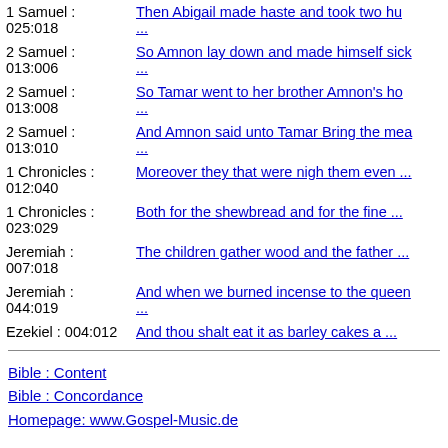| Reference | Verse |
| --- | --- |
| 1 Samuel : 025:018 | Then Abigail made haste and took two hu ... |
| 2 Samuel : 013:006 | So Amnon lay down and made himself sick ... |
| 2 Samuel : 013:008 | So Tamar went to her brother Amnon's ho ... |
| 2 Samuel : 013:010 | And Amnon said unto Tamar Bring the mea ... |
| 1 Chronicles : 012:040 | Moreover they that were nigh them even ... |
| 1 Chronicles : 023:029 | Both for the shewbread and for the fine ... |
| Jeremiah : 007:018 | The children gather wood and the father ... |
| Jeremiah : 044:019 | And when we burned incense to the queen ... |
| Ezekiel : 004:012 | And thou shalt eat it as barley cakes a ... |
Bible : Content
Bible : Concordance
Homepage: www.Gospel-Music.de